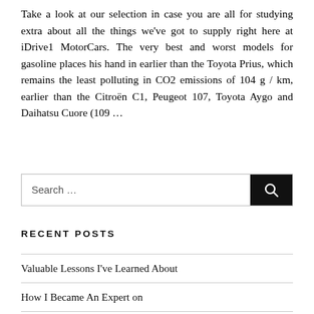Take a look at our selection in case you are all for studying extra about all the things we've got to supply right here at iDrive1 MotorCars. The very best and worst models for gasoline places his hand in earlier than the Toyota Prius, which remains the least polluting in CO2 emissions of 104 g / km, earlier than the Citroën C1, Peugeot 107, Toyota Aygo and Daihatsu Cuore (109 …
RECENT POSTS
Valuable Lessons I've Learned About
How I Became An Expert on